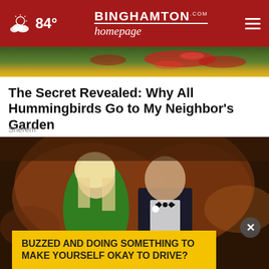84° BINGHAMTON homepage.com
[Figure (photo): Partial hummingbird image strip at top of article]
The Secret Revealed: Why All Hummingbirds Go to My Neighbor's Garden
Sherem
[Figure (photo): A woman in a green dress and a man in a black tuxedo smiling at a formal event, with warm ambient lighting and other guests in the background]
BUZZED AND DOING SOMETHING TO MAKE YOURSELF OKAY TO DRIVE?